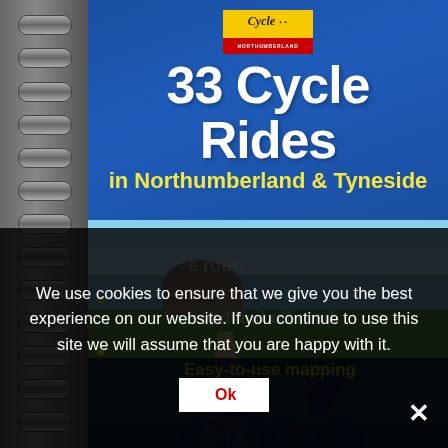[Figure (photo): Photograph of a spiral-bound guidebook titled '33 Cycle Rides in Northumberland & Tyneside'. The book cover shows a blue header with a yellow/red logo, large white title text, and a landscape photo of two cyclists riding on a coastal path with green fields and a rocky hill in the background. The bottom portion of the book cover is obscured by a cookie consent popup overlay.]
We use cookies to ensure that we give you the best experience on our website. If you continue to use this site we will assume that you are happy with it.